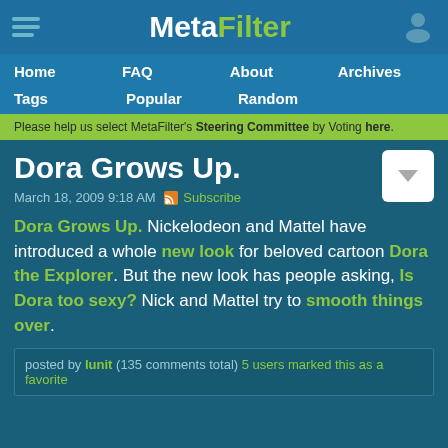MetaFilter
Home
FAQ
About
Archives
Tags
Popular
Random
Please help us select MetaFilter's Steering Committee by Voting here.
Dora Grows Up.
March 18, 2009 9:18 AM   Subscribe
Dora Grows Up. Nickelodeon and Mattel have introduced a whole new look for beloved cartoon Dora the Explorer. But the new look has people asking, Is Dora too sexy? Nick and Mattel try to smooth things over.
posted by lunit (135 comments total) 5 users marked this as a favorite